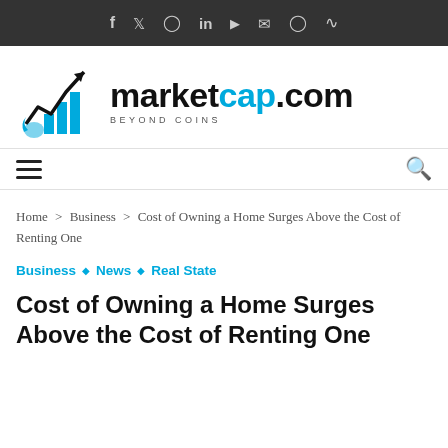Social icons: f, Twitter, Instagram, in, YouTube, Email, Snapchat, RSS
[Figure (logo): marketcap.com logo with chart icon showing upward arrow and blue bar chart. Text reads 'marketcap.com BEYOND COINS']
Navigation bar with hamburger menu and search icon
Home > Business > Cost of Owning a Home Surges Above the Cost of Renting One
Business ◇ News ◇ Real State
Cost of Owning a Home Surges Above the Cost of Renting One